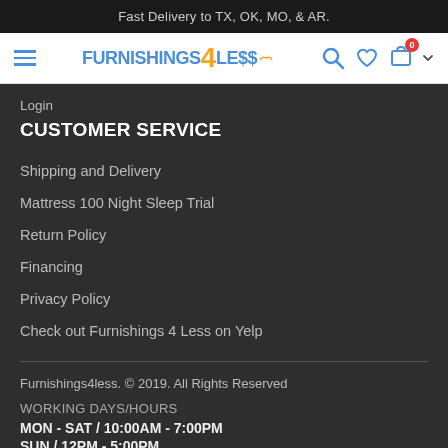Fast Delivery to TX, OK, MO, & AR.
[Figure (logo): Furnishings 4 Less logo with navigation icons (hamburger menu, search, heart, cart with badge 0)]
Login
CUSTOMER SERVICE
Shipping and Delivery
Mattress 100 Night Sleep Trial
Return Policy
Financing
Privacy Policy
Check out Furnishings 4 Less on Yelp
Furnishings4less. © 2019. All Rights Reserved
WORKING DAYS/HOURS
MON - SAT / 10:00AM - 7:00PM
SUN / 12PM - 5:00PM